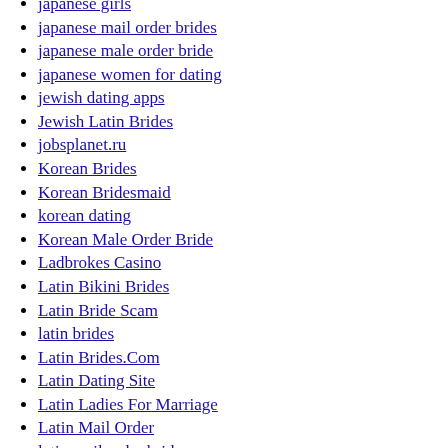japanese girls
japanese mail order brides
japanese male order bride
japanese women for dating
jewish dating apps
Jewish Latin Brides
jobsplanet.ru
Korean Brides
Korean Bridesmaid
korean dating
Korean Male Order Bride
Ladbrokes Casino
Latin Bikini Brides
Latin Bride Scam
latin brides
Latin Brides.Com
Latin Dating Site
Latin Ladies For Marriage
Latin Mail Order
latin mail order brides
latin mail order wives
Latin Wifes
Latin Woman Profile
latin women
Latin Women For Marriage